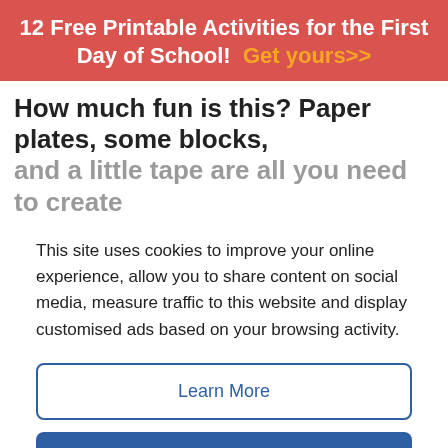12 Free Printable Activities for the First Day of School! Get yours>>
How much fun is this? Paper plates, some blocks, and a little tape are all you need to create
This site uses cookies to improve your online experience, allow you to share content on social media, measure traffic to this website and display customised ads based on your browsing activity.
Learn More
Accept
[Figure (photo): Colorful beads and craft supplies on a paper plate activity]
< See More Learning at Home Resources
[Figure (infographic): Disney Bundle advertisement banner with Hulu, Disney+, ESPN+ logos and GET THE DISNEY BUNDLE call to action]